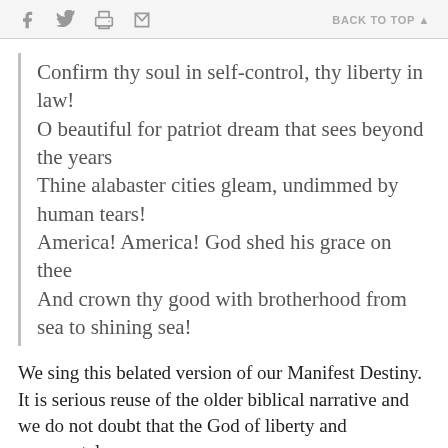f [twitter] [print] [mail]   BACK TO TOP ▲
Confirm thy soul in self-control, thy liberty in law!
O beautiful for patriot dream that sees beyond the years
Thine alabaster cities gleam, undimmed by human tears!
America! America! God shed his grace on thee
And crown thy good with brotherhood from sea to shining sea!
We sing this belated version of our Manifest Destiny. It is serious reuse of the older biblical narrative and we do not doubt that the God of liberty and covenantal